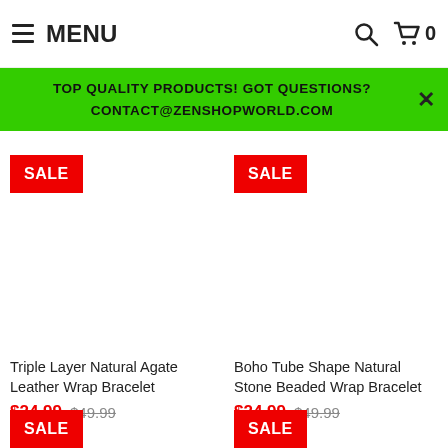≡ MENU
TOP QUALITY PRODUCTS! GOT QUESTIONS?
CONTACT@ZENSHOPWORLD.COM
SALE — Triple Layer Natural Agate Leather Wrap Bracelet — $24.99 $49.99
SALE — Boho Tube Shape Natural Stone Beaded Wrap Bracelet — $24.99 $49.99
SALE (bottom left)
SALE (bottom right)